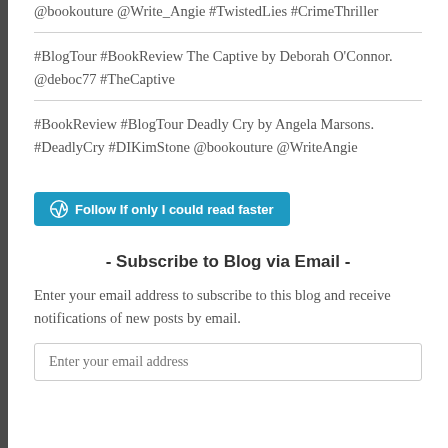@bookouture @Write_Angie #TwistedLies #CrimeThriller
#BlogTour #BookReview The Captive by Deborah O'Connor. @deboc77 #TheCaptive
#BookReview #BlogTour Deadly Cry by Angela Marsons. #DeadlyCry #DIKimStone @bookouture @WriteAngie
[Figure (other): Follow button for WordPress blog 'If only I could read faster' in teal/blue color with WordPress icon]
- Subscribe to Blog via Email -
Enter your email address to subscribe to this blog and receive notifications of new posts by email.
Enter your email address